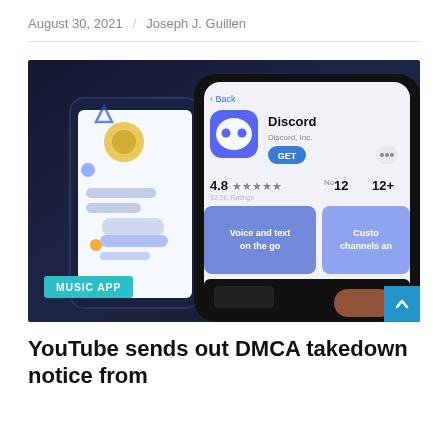August 30, 2021 / Joseph J. Guillen
[Figure (photo): A hand holding a smartphone displaying the Discord app page on the App Store (showing Discord icon, GET button, 4.8 stars, No12, 12+, Voice and text on the go, Custom channels and), with a dark blue background showing another smartphone with a chat app interface and Discord-themed graphics.]
YouTube sends out DMCA takedown notice from